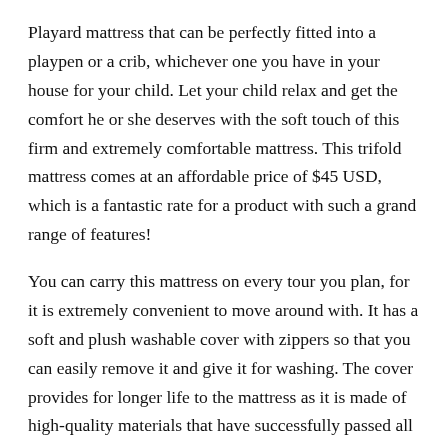Playard mattress that can be perfectly fitted into a playpen or a crib, whichever one you have in your house for your child.  Let your child relax and get the comfort he or she deserves with the soft touch of this firm and extremely comfortable mattress. This trifold mattress comes at an affordable price of $45 USD, which is a fantastic rate for a product with such a grand range of features!
You can carry this mattress on every tour you plan, for it is extremely convenient to move around with.  It has a soft and plush washable cover with zippers so that you can easily remove it and give it for washing.  The cover provides for longer life to the mattress as it is made of high-quality materials that have successfully passed all US safety regulations, guaranteeing that it is free from toxins and other chemicals. It is 100% durable and emission-free and has been thoroughly tested for its performance. The mattress is made with comfortable Dimensions of 38 x 26 x 2.25, and its rounded and firm corners provide for better protection to your child.  It has a thick foam that guarantees a snug, gap-free